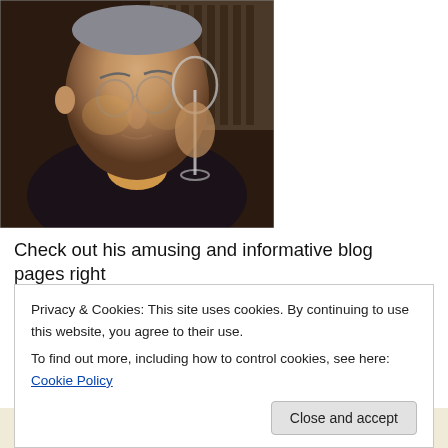[Figure (photo): Elderly man in a dark suit with a red bow tie and yellow/orange shirt, holding a wine glass, photographed indoors near window shutters]
Check out his amusing and informative blog pages right
Privacy & Cookies: This site uses cookies. By continuing to use this website, you agree to their use. To find out more, including how to control cookies, see here: Cookie Policy
Close and accept
Professionally